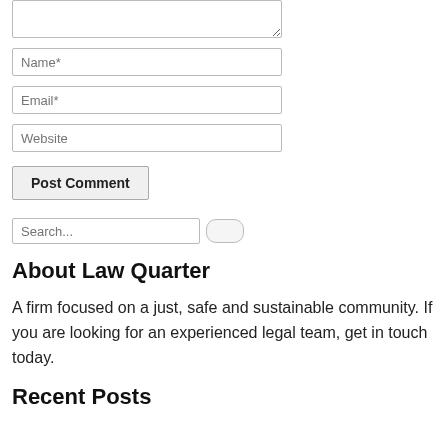[Figure (screenshot): Comment form with textarea (partially visible at top), Name*, Email*, Website input fields, and Post Comment button]
Search...
About Law Quarter
A firm focused on a just, safe and sustainable community. If you are looking for an experienced legal team, get in touch today.
Recent Posts